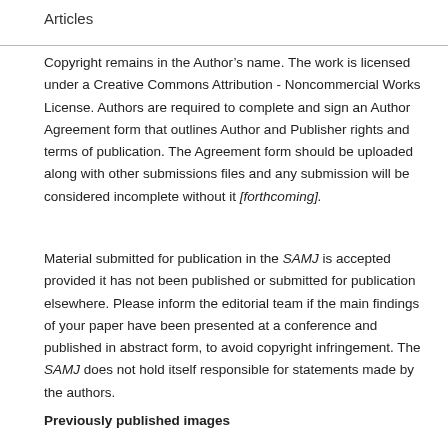Articles
Copyright remains in the Author’s name. The work is licensed under a Creative Commons Attribution - Noncommercial Works License. Authors are required to complete and sign an Author Agreement form that outlines Author and Publisher rights and terms of publication. The Agreement form should be uploaded along with other submissions files and any submission will be considered incomplete without it [forthcoming].
Material submitted for publication in the SAMJ is accepted provided it has not been published or submitted for publication elsewhere. Please inform the editorial team if the main findings of your paper have been presented at a conference and published in abstract form, to avoid copyright infringement. The SAMJ does not hold itself responsible for statements made by the authors.
Previously published images